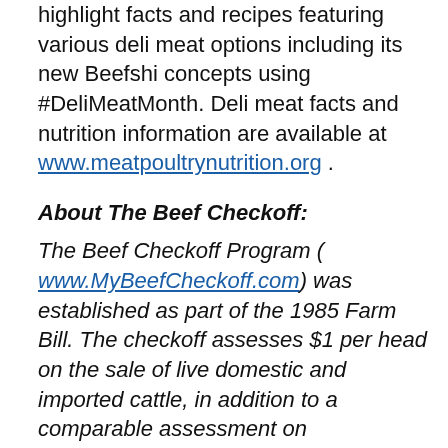highlight facts and recipes featuring various deli meat options including its new Beefshi concepts using #DeliMeatMonth. Deli meat facts and nutrition information are available at www.meatpoultrynutrition.org .
About The Beef Checkoff:
The Beef Checkoff Program ( www.MyBeefCheckoff.com ) was established as part of the 1985 Farm Bill. The checkoff assesses $1 per head on the sale of live domestic and imported cattle, in addition to a comparable assessment on